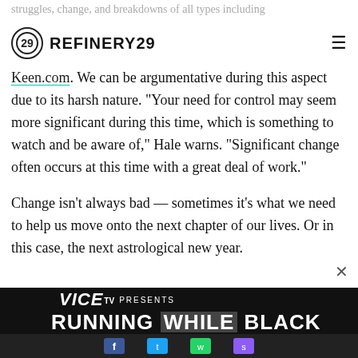struggles, change, and breakdowns of all types including
REFINERY29
Keen.com. We can be argumentative during this aspect due to its harsh nature. "Your need for control may seem more significant during this time, which is something to watch and be aware of," Hale warns. "Significant change often occurs at this time with a great deal of work."
Change isn't always bad — sometimes it's what we need to help us move onto the next chapter of our lives. Or in this case, the next astrological new year.
[Figure (screenshot): Advertisement banner for VICE TV Presents: Running While Black]